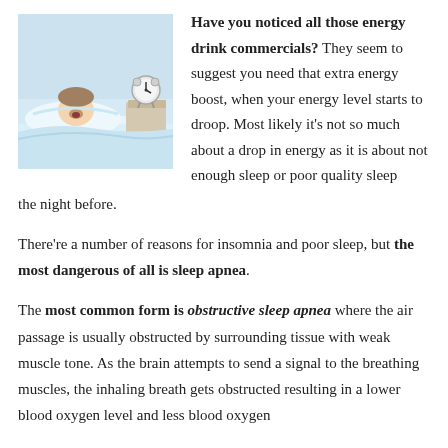[Figure (photo): Person lying in bed yawning or waking up, with an alarm clock on the nightstand. Blue-toned bedroom scene.]
Have you noticed all those energy drink commercials? They seem to suggest you need that extra energy boost, when your energy level starts to droop. Most likely it's not so much about a drop in energy as it is about not enough sleep or poor quality sleep the night before.
There're a number of reasons for insomnia and poor sleep, but the most dangerous of all is sleep apnea.
The most common form is obstructive sleep apnea where the air passage is usually obstructed by surrounding tissue with weak muscle tone. As the brain attempts to send a signal to the breathing muscles, the inhaling breath gets obstructed resulting in a lower blood oxygen level and less blood oxygen sto...